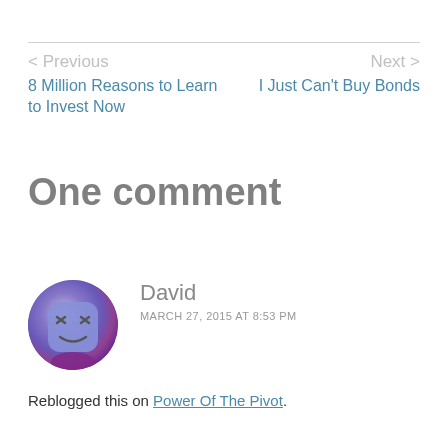< Previous
8 Million Reasons to Learn to Invest Now
Next >
I Just Can't Buy Bonds
One comment
David
MARCH 27, 2015 AT 8:53 PM
Reblogged this on Power Of The Pivot.